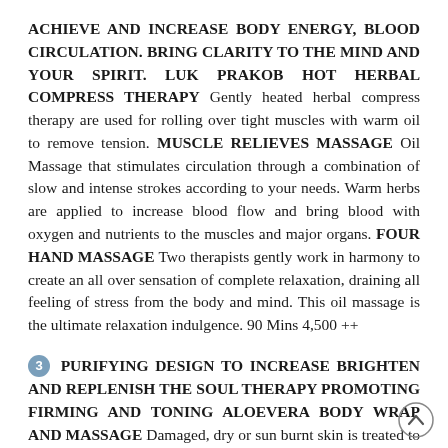ACHIEVE AND INCREASE BODY ENERGY, BLOOD CIRCULATION. BRING CLARITY TO THE MIND AND YOUR SPIRIT. LUK PRAKOB HOT HERBAL COMPRESS THERAPY Gently heated herbal compress therapy are used for rolling over tight muscles with warm oil to remove tension. MUSCLE RELIEVES MASSAGE Oil Massage that stimulates circulation through a combination of slow and intense strokes according to your needs. Warm herbs are applied to increase blood flow and bring blood with oxygen and nutrients to the muscles and major organs. FOUR HAND MASSAGE Two therapists gently work in harmony to create an all over sensation of complete relaxation, draining all feeling of stress from the body and mind. This oil massage is the ultimate relaxation indulgence. 90 Mins 4,500 ++
3 PURIFYING DESIGN TO INCREASE BRIGHTEN AND REPLENISH THE SOUL THERAPY PROMOTING FIRMING AND TONING ALOEVERA BODY WRAP AND MASSAGE Damaged, dry or sun burnt skin is treated to the cooling effect of circular application strokes to the body with hand prepared ingredients. REFRESHING ORGANIC FACIAL Natural ingredients for blend and core care for...